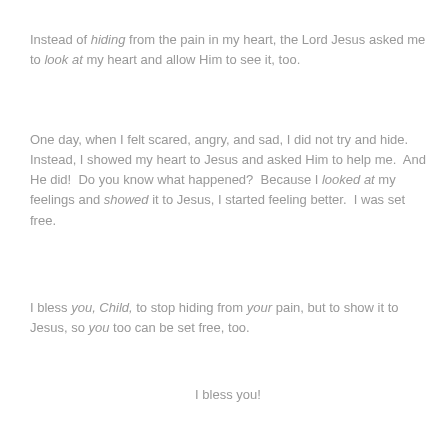Instead of hiding from the pain in my heart, the Lord Jesus asked me to look at my heart and allow Him to see it, too.
One day, when I felt scared, angry, and sad, I did not try and hide. Instead, I showed my heart to Jesus and asked Him to help me.  And He did!  Do you know what happened?  Because I looked at my feelings and showed it to Jesus, I started feeling better.  I was set free.
I bless you, Child, to stop hiding from your pain, but to show it to Jesus, so you too can be set free, too.
I bless you!